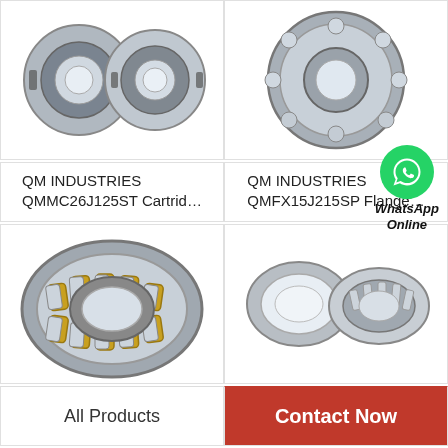[Figure (photo): Two sealed wheel hub bearings side by side, metallic gray, top-left product]
[Figure (photo): Single open deep groove ball bearing, metallic gray, top-right product]
QM INDUSTRIES QMMC26J125ST Cartrid…
QM INDUSTRIES QMFX15J215SP Flange…
[Figure (photo): Large cylindrical roller bearing with yellow/gold cage, bottom-left product]
[Figure (photo): Tapered roller bearing cup and cone set, metallic silver, bottom-right product]
All Products
Contact Now